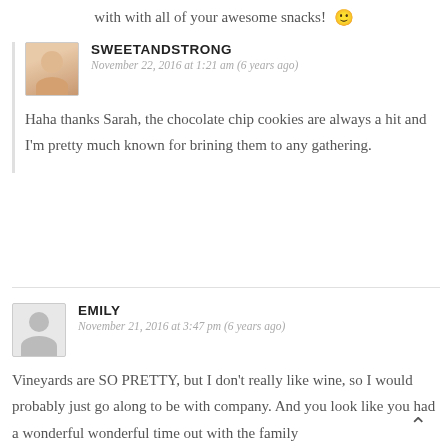with with all of your awesome snacks! 🙂
SWEETANDSTRONG
November 22, 2016 at 1:21 am (6 years ago)
Haha thanks Sarah, the chocolate chip cookies are always a hit and I'm pretty much known for brining them to any gathering.
EMILY
November 21, 2016 at 3:47 pm (6 years ago)
Vineyards are SO PRETTY, but I don't really like wine, so I would probably just go along to be with company. And you look like you had a wonderful wonderful time out with the family